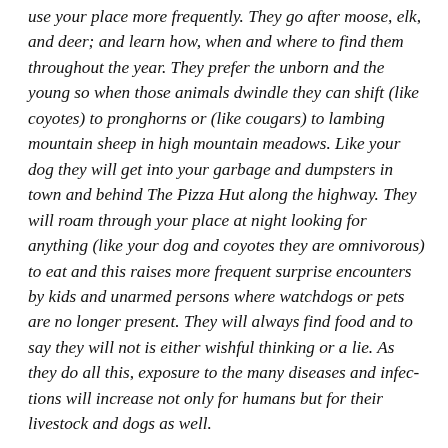use your place more frequently. They go after moose, elk, and deer; and learn how, when and where to find them throughout the year. They prefer the unborn and the young so when those animals dwindle they can shift (like coyotes) to pronghorns or (like cougars) to lambing mountain sheep in high mountain meadows. Like your dog they will get into your garbage and dumpsters in town and behind The Pizza Hut along the highway. They will roam through your place at night looking for anything (like your dog and coyotes they are omnivorous) to eat and this raises more frequent surprise encounters by kids and unarmed persons where watchdogs or pets are no longer present. They will always find food and to say they will not is either wishful thinking or a lie. As they do all this, exposure to the many diseases and infections will increase not only for humans but for their livestock and dogs as well.